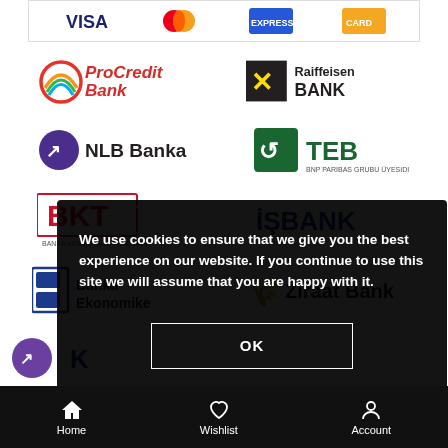[Figure (other): Top strip showing payment card logos: Visa, Mastercard, American Express, and another card brand]
[Figure (other): Grid of bank partner logos: ProCredit Bank, Raiffeisen Bank, NLB Banka, TEB, BKT (Banka Kombetare Tregtare), ISBANK, Banka Ekonomike, Ziraat Bank]
[Figure (other): Partially visible bank logo row with purple circular icon]
We use cookies to ensure that we give you the best experience on our website. If you continue to use this site we will assume that you are happy with it.
OK
Home   Wishlist   Account